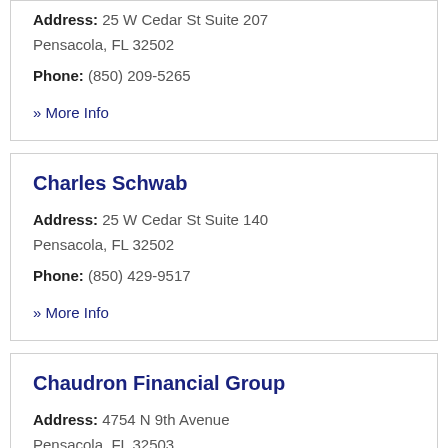Address: 25 W Cedar St Suite 207 Pensacola, FL 32502
Phone: (850) 209-5265
» More Info
Charles Schwab
Address: 25 W Cedar St Suite 140 Pensacola, FL 32502
Phone: (850) 429-9517
» More Info
Chaudron Financial Group
Address: 4754 N 9th Avenue Pensacola, FL 32503